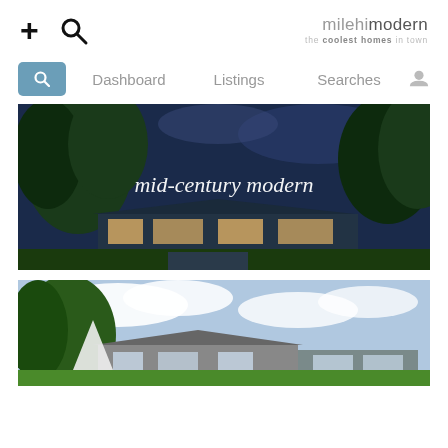+ [search icon] | milehi modern - the coolest homes in town
[Figure (screenshot): Navigation bar with search button, Dashboard, Listings, Searches, and user icon]
[Figure (photo): Mid-century modern home at dusk with trees and large windows, overlay text: mid-century modern]
[Figure (photo): Another modern home exterior in daytime with trees and cloudy sky]